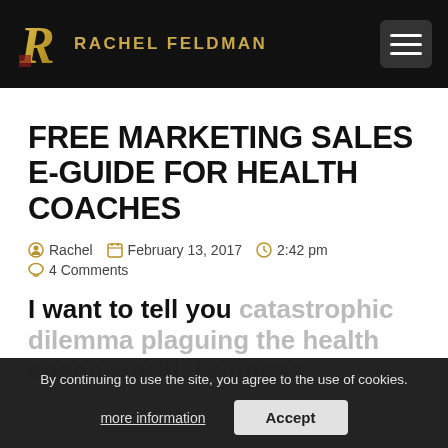RACHEL FELDMAN
FREE MARKETING SALES E-GUIDE FOR HEALTH COACHES
Rachel  February 13, 2017  2:42 pm  4 Comments
I want to tell you catastrophic dilemma plaguing the health coach world, I witness
By continuing to use the site, you agree to the use of cookies. more information  Accept